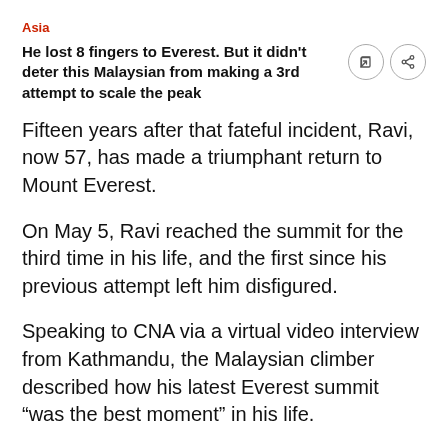Asia
He lost 8 fingers to Everest. But it didn't deter this Malaysian from making a 3rd attempt to scale the peak
Fifteen years after that fateful incident, Ravi, now 57, has made a triumphant return to Mount Everest.
On May 5, Ravi reached the summit for the third time in his life, and the first since his previous attempt left him disfigured.
Speaking to CNA via a virtual video interview from Kathmandu, the Malaysian climber described how his latest Everest summit “was the best moment” in his life.
Completing this year’s expedition, a challenge he named Everest 3.0, was an opportunity to “conquer old demons,” he said.